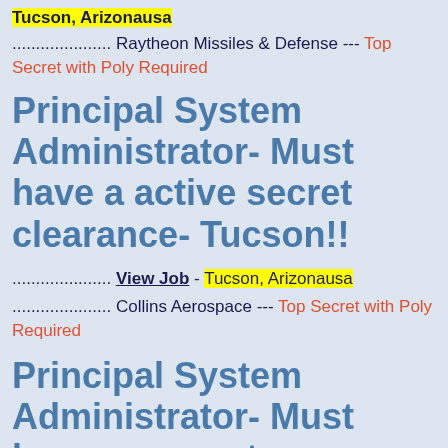Tucson, Arizonausa
………………… Raytheon Missiles & Defense --- Top Secret with Poly Required
Principal System Administrator- Must have a active secret clearance- Tucson!!
………………… View Job - Tucson, Arizonausa
………………… Collins Aerospace --- Top Secret with Poly Required
Principal System Administrator- Must have a current